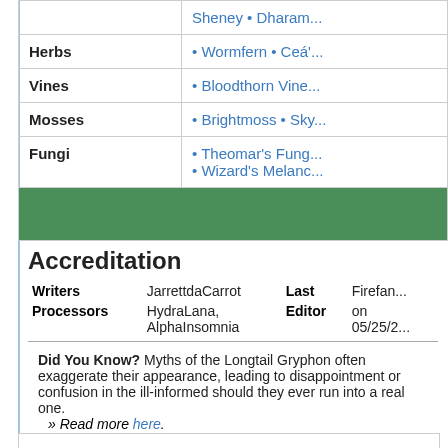| Category | Items |
| --- | --- |
|  | Sheney • Dharam... |
| Herbs | • Wormfern • Ceá'... |
| Vines | • Bloodthorn Vine... |
| Mosses | • Brightmoss • Sky... |
| Fungi | • Theomar's Fung...
• Wizard's Melanc... |
Accreditation
|  |  | Last Editor |  |
| --- | --- | --- | --- |
| Writers | JarrettdaCarrot |  | Firefan... |
| Processors | HydraLana, AlphaInsomnia | on | 05/25/2... |
Did You Know? Myths of the Longtail Gryphon often exaggerate their appearance, leading to disappointment or confusion in the ill-informed should they ever run into a real one.
» Read more here.